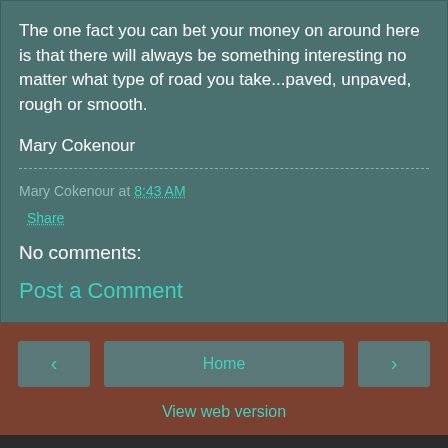The one fact you can bet your money on around here is that there will always be something interesting no matter what type of road you take...paved, unpaved, rough or smooth.
Mary Cokenour
Mary Cokenour at 8:43 AM
Share
No comments:
Post a Comment
Home
View web version
Powered by Blogger.